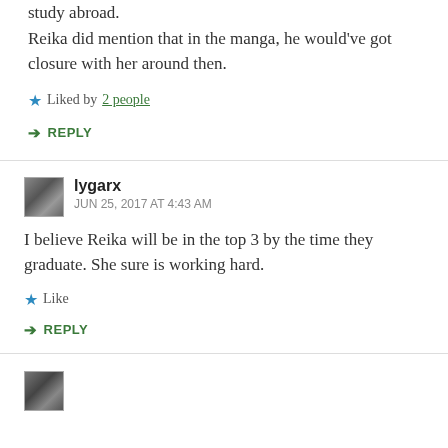study abroad. Reika did mention that in the manga, he would've got closure with her around then.
Liked by 2 people
REPLY
lygarx
JUN 25, 2017 AT 4:43 AM
I believe Reika will be in the top 3 by the time they graduate. She sure is working hard.
Like
REPLY